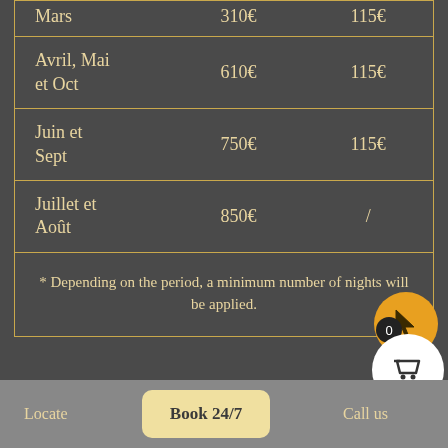|  |  |  |
| --- | --- | --- |
| Mars | 310€ | 115€ |
| Avril, Mai et Oct | 610€ | 115€ |
| Juin et Sept | 750€ | 115€ |
| Juillet et Août | 850€ | / |
* Depending on the period, a minimum number of nights will be applied.
Locate   Book 24/7   Call us